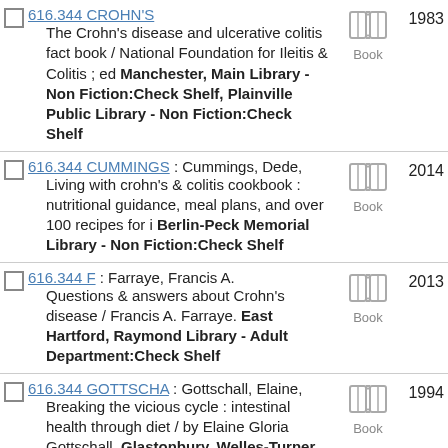616.344 CROHN'S — The Crohn's disease and ulcerative colitis fact book / National Foundation for Ileitis & Colitis ; ed Manchester, Main Library - Non Fiction:Check Shelf, Plainville Public Library - Non Fiction:Check Shelf — Book — 1983
616.344 CUMMINGS : Cummings, Dede, Living with crohn's & colitis cookbook : nutritional guidance, meal plans, and over 100 recipes for i Berlin-Peck Memorial Library - Non Fiction:Check Shelf — Book — 2014
616.344 F : Farraye, Francis A. Questions & answers about Crohn's disease / Francis A. Farraye. East Hartford, Raymond Library - Adult Department:Check Shelf — Book — 2013
616.344 GOTTSCHA : Gottschall, Elaine, Breaking the vicious cycle : intestinal health through diet / by Elaine Gloria Gottschall. Glastonbury, Welles-Turner Memorial Library - Adult Department:Check Shelf, Portland Public Library - Adult Department:Check Shelf — Book — 1994
616.344 H917 : Hunter, J. O. Inflammatory bowel disease : the essential guide to controlling Crohn's disease, colitis and other IB Bristol, Main Library - Non Fiction:Check Shelf, Manchester, Main Library - Non Fiction:Check Shelf, Newington, Lucy — Book — 2010